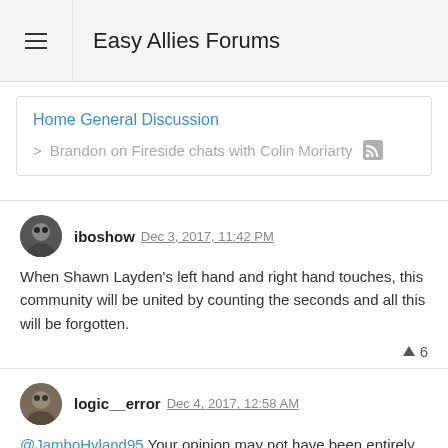Easy Allies Forums
Home General Discussion
> Brandon on Fireside chats with Colin Moriarty
iboshow Dec 3, 2017, 11:42 PM
When Shawn Layden's left hand and right hand touches, this community will be united by counting the seconds and all this will be forgotten.
▲ 6
logic__error Dec 4, 2017, 12:58 AM
@JamboHyland95 Your opinion may not have been entirely neutral, but your framing was. You didn't attack, just expressed confusion and